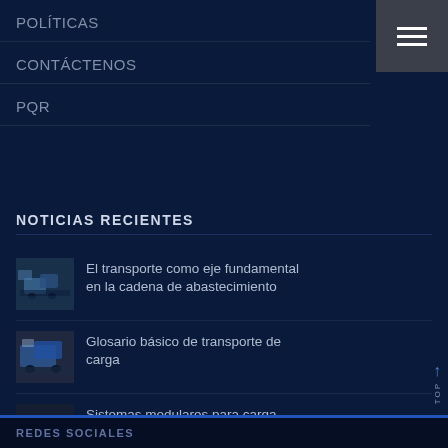POLÍTICAS
CONTÁCTENOS
PQR
NOTICIAS RECIENTES
El transporte como eje fundamental en la cadena de abastecimiento
Glosario básico de transporte de carga
Sistemas modulares para carga extrapesada y extradimensionada
REDES SOCIALES